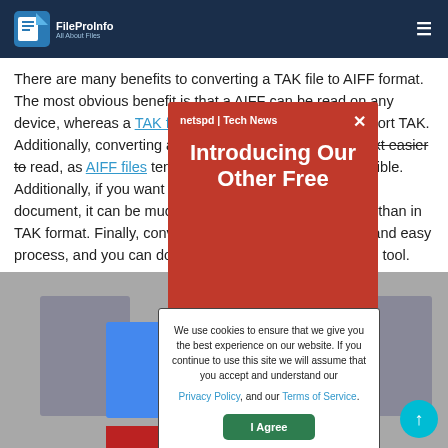FileProInfo | All About Files
There are many benefits to converting a TAK file to AIFF format. The most obvious benefit is that a AIFF can be read on any device, whereas a TAK file is limited to devices that support TAK. Additionally, converting a TAK to AIFF also makes the text easier to read, as AIFF files tend to be more universally compatible. Additionally, if you want to make comments or edits to a document, it can be much easier to do so in AIFF format than in TAK format. Finally, converting a TAK to AIFF is a quick and easy process, and you can do so for free using this free online tool.
[Figure (screenshot): Red popup banner labeled 'netspd | Tech News' with text 'Introducing Our Other Free' and a close X button]
[Figure (screenshot): Cookie consent dialog with text: 'We use cookies to ensure that we give you the best experience on our website. If you continue to use this site we will assume that you accept and understand our Privacy Policy, and our Terms of Service.' with an 'I Agree' button]
[Figure (screenshot): File conversion interface showing file icons and conversion UI at the bottom of the page]